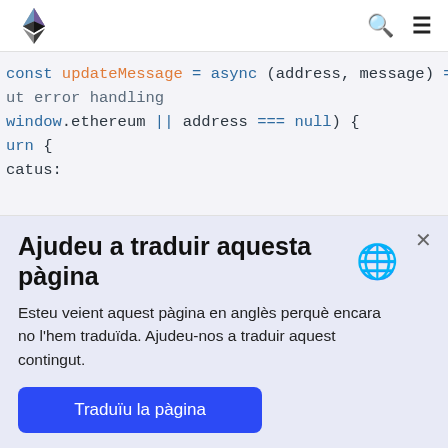Ethereum logo, search icon, menu icon
[Figure (screenshot): Code snippet showing partial JavaScript: const updateMessage = async (address, message) => { with error handling, window.ethereum || address === null) {, return {, catus:]
Ajudeu a traduir aquesta pàgina
Esteu veient aquest pàgina en anglès perquè encara no l'hem traduïda. Ajudeu-nos a traduir aquest contingut.
Traduïu la pàgina